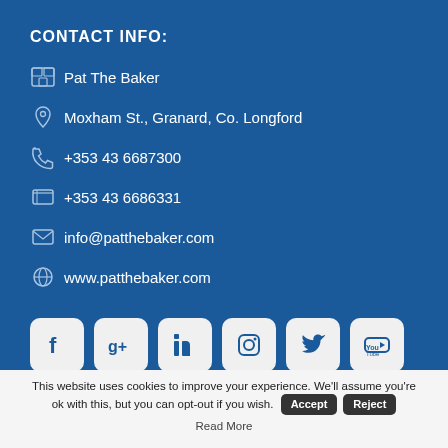CONTACT INFO:
Pat The Baker
Moxham St., Granard, Co. Longford
+353 43 6687300
+353 43 6686331
info@patthebaker.com
www.patthebaker.com
[Figure (infographic): Social media icons: Facebook, Google+, LinkedIn, Instagram, Twitter, YouTube]
This website uses cookies to improve your experience. We'll assume you're ok with this, but you can opt-out if you wish. Accept Reject Read More